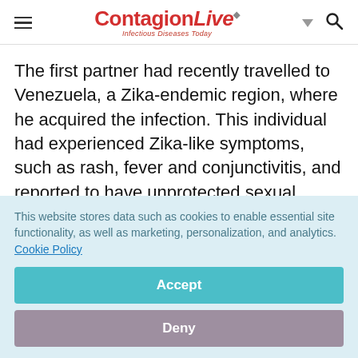ContagionLive — Infectious Diseases Today
The first partner had recently travelled to Venezuela, a Zika-endemic region, where he acquired the infection. This individual had experienced Zika-like symptoms, such as rash, fever and conjunctivitis, and reported to have unprotected sexual intercourse with his partner
This website stores data such as cookies to enable essential site functionality, as well as marketing, personalization, and analytics. Cookie Policy
Accept
Deny